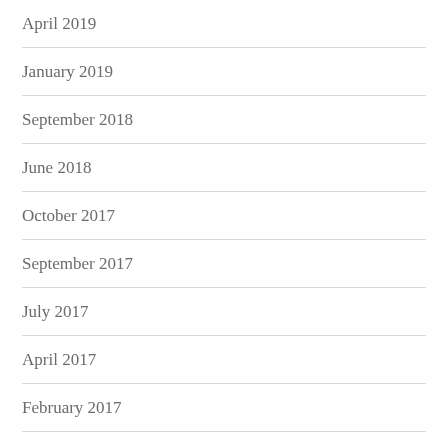April 2019
January 2019
September 2018
June 2018
October 2017
September 2017
July 2017
April 2017
February 2017